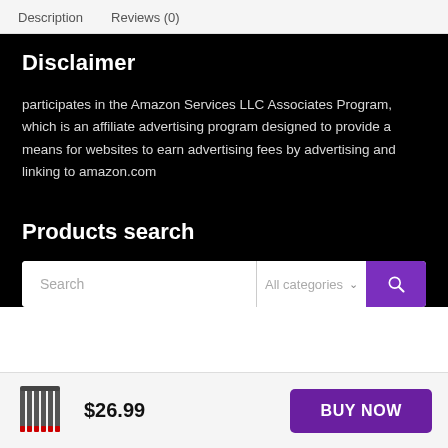Description   Reviews (0)
Disclaimer
participates in the Amazon Services LLC Associates Program, which is an affiliate advertising program designed to provide a means for websites to earn advertising fees by advertising and linking to amazon.com
Products search
Search  All categories
$26.99
BUY NOW